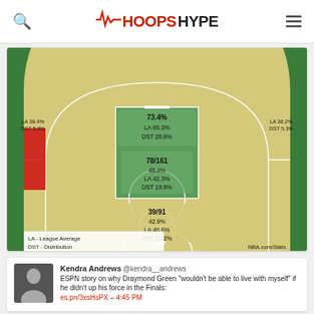HOOPSHYPE
[Figure (infographic): NBA shot chart for a player (Draymond Green) showing a basketball half-court with zones labeled with makes/attempts and percentages. Zones: top-right corner: 73.4%, LA 65.3%, DST 28.6%; left corner: LA 38.4%, DST 5.9%; right corner: LA 38.2%, DST 5.3%; paint area: 78/161, 48.4%, LA 42.3%, DST 19.8%; mid-range: 39/91, 42.9%, LA 40.6%, DST 11.2%; three-point area center: 97/238, 40.5%, LA 34.0%, DST 29.2%. Legend: LA - League Average, DST - Distribution. Source: NBA.com/Stats]
Kendra Andrews @kendra__andrews ESPN story on why Draymond Green "wouldn't be able to live with myself" if he didn't up his force in the Finals: es.pn/3xsHsPX – 4:45 PM